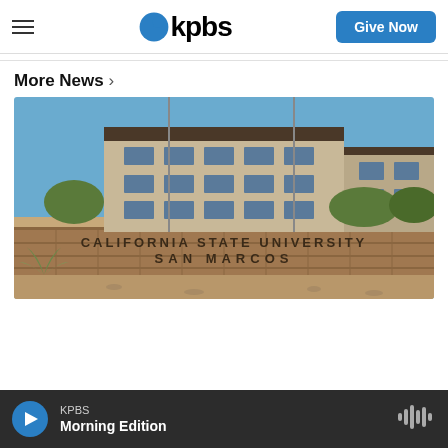KPBS — Give Now
More News ›
[Figure (photo): California State University San Marcos campus building with flagpoles and stone sign reading 'CALIFORNIA STATE UNIVERSITY SAN MARCOS', blue sky background with trees and desert landscaping in foreground]
KPBS Morning Edition